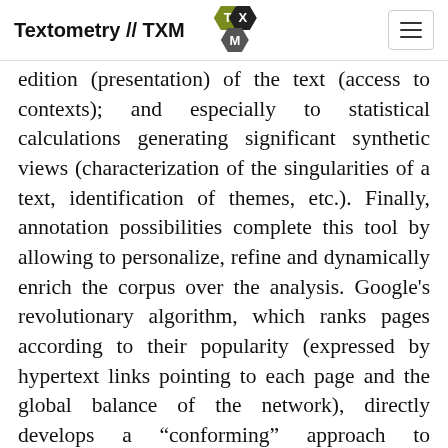Textometry // TXM
[Figure (illustration): TXM icon cluster: three overlapping hexagons labelled T, X, M in dark colors (olive green, black, dark grey)]
edition (presentation) of the text (access to contexts); and especially to statistical calculations generating significant synthetic views (characterization of the singularities of a text, identification of themes, etc.). Finally, annotation possibilities complete this tool by allowing to personalize, refine and dynamically enrich the corpus over the analysis. Google’s revolutionary algorithm, which ranks pages according to their popularity (expressed by hypertext links pointing to each page and the global balance of the network), directly develops a “conforming” approach to intertextuality: the more a page is quoted, the more it is highlighted by Google, and vice versa.